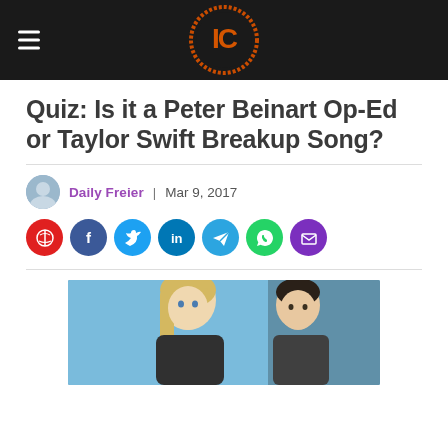IC (logo) — navigation header
Quiz: Is it a Peter Beinart Op-Ed or Taylor Swift Breakup Song?
Daily Freier | Mar 9, 2017
[Figure (photo): Photo of Taylor Swift (blonde woman) and a dark-haired man, against a blue background]
[Figure (logo): IC logo — orange circular stamp style logo with the letters IC]